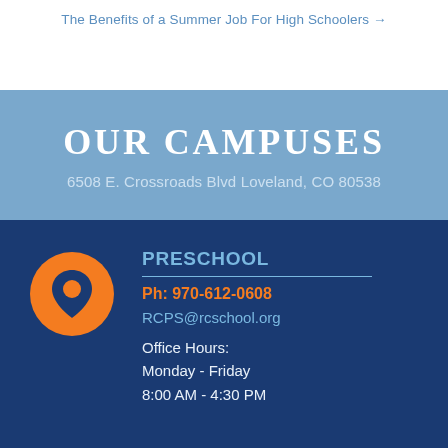The Benefits of a Summer Job For High Schoolers →
OUR CAMPUSES
6508 E. Crossroads Blvd Loveland, CO 80538
[Figure (illustration): Orange circle with a dark blue map location pin icon inside]
PRESCHOOL
Ph: 970-612-0608
RCPS@rcschool.org
Office Hours:
Monday - Friday
8:00 AM - 4:30 PM